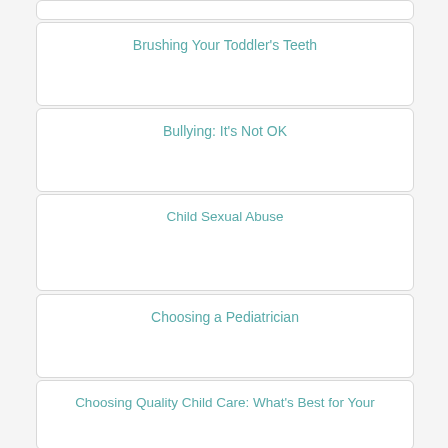Brushing Your Toddler's Teeth
Bullying: It's Not OK
Child Sexual Abuse
Children's Dental Health: What You Need to Know
Choosing a Pediatrician
Choosing Quality Child Care: What's Best for Your